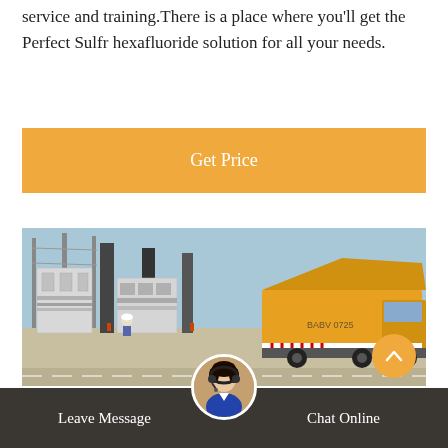service and training.There is a place where you'll get the Perfect Sulfr hexafluoride solution for all your needs.
Get Price
[Figure (photo): Industrial electrical substation with high-voltage equipment and a yellow service truck/vehicle in the foreground, workers visible near equipment, outdoor setting with blue sky]
Leave Message   Chat Online